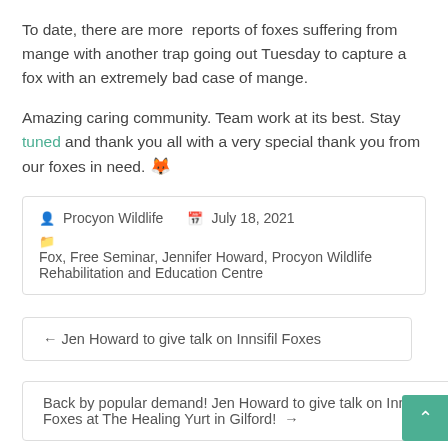To date, there are more reports of foxes suffering from mange with another trap going out Tuesday to capture a fox with an extremely bad case of mange.
Amazing caring community. Team work at its best. Stay tuned and thank you all with a very special thank you from our foxes in need. 🦊
👤 Procyon Wildlife   📅 July 18, 2021
📁 Fox, Free Seminar, Jennifer Howard, Procyon Wildlife Rehabilitation and Education Centre
← Jen Howard to give talk on Innsifil Foxes
Back by popular demand! Jen Howard to give talk on Innisfil Foxes at The Healing Yurt in Gilford! →